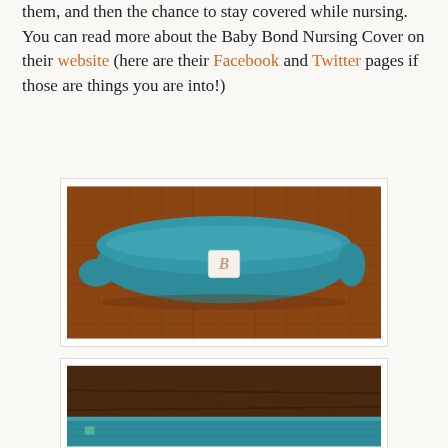them, and then the chance to stay covered while nursing. You can read more about the Baby Bond Nursing Cover on their website (here are their Facebook and Twitter pages if those are things you are into!)
[Figure (photo): A teal/blue nursing cover rolled up and laid flat on a brown quilted bedspread. The cover has a small white square label with a cursive 'B' logo in the center.]
[Figure (photo): Partial view of the same teal nursing cover unfolded slightly, showing the fabric laid flat on a brown surface, with the bottom edge visible.]